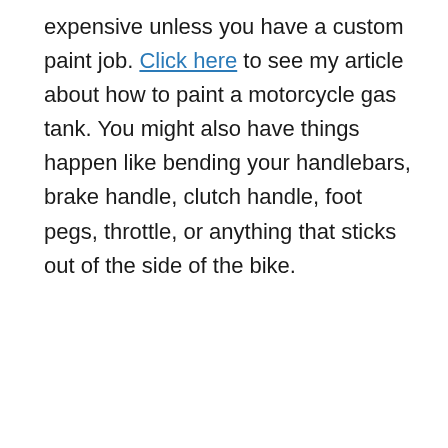expensive unless you have a custom paint job. Click here to see my article about how to paint a motorcycle gas tank. You might also have things happen like bending your handlebars, brake handle, clutch handle, foot pegs, throttle, or anything that sticks out of the side of the bike.